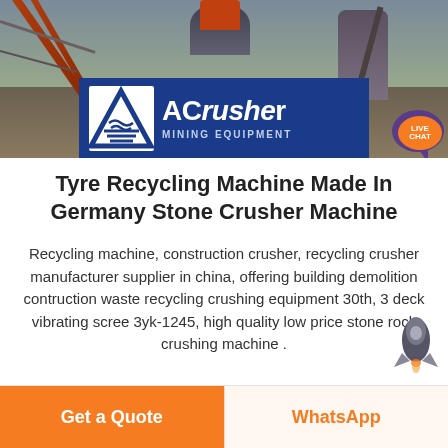[Figure (photo): Mining/crushing equipment site photo with ACrusher Mining Equipment logo overlay and a LIVE CHAT bubble in the top right corner. Shows industrial conveyor belts, a large cone crusher, and steel framework against a sky background. The ACrusher logo features a blue background with a white triangle/wave symbol and bold white text.]
Tyre Recycling Machine Made In Germany Stone Crusher Machine
Recycling machine, construction crusher, recycling crusher manufacturer supplier in china, offering building demolition contruction waste recycling crushing equipment 30th, 3 deck vibrating scree 3yk-1245, high quality low price stone rock crushing machine .
Get a Quote | WhatsApp